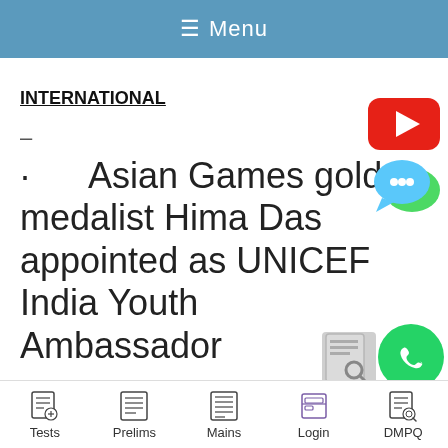≡ Menu
INTERNATIONAL
–
· Asian Games gold medalist Hima Das appointed as UNICEF India Youth Ambassador
–
[Figure (logo): YouTube play button logo (red rounded rectangle with white triangle)]
[Figure (logo): Chat bubble icon with three dots (teal/cyan and green overlapping bubbles)]
[Figure (logo): WhatsApp logo (green circle with white phone handset)]
Tests  Prelims  Mains  Login  DMPQ